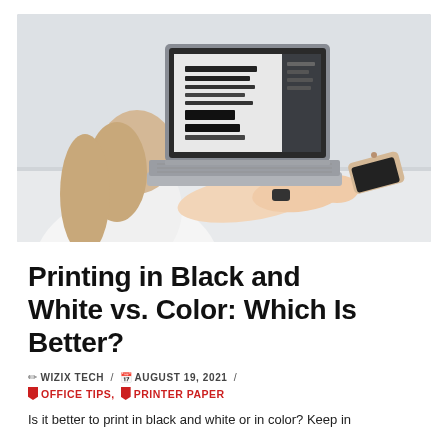[Figure (photo): A woman in a white top working on a laptop with a font/typography design open on screen, with a smartphone beside her on a white desk.]
Printing in Black and White vs. Color: Which Is Better?
✏ WIZIX TECH  /  📅 AUGUST 19, 2021  /  🏷 OFFICE TIPS,  🏷 PRINTER PAPER
Is it better to print in black and white or in color? Keep in